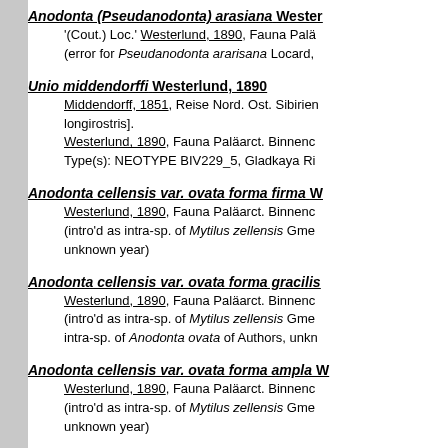Anodonta (Pseudanodonta) arasiana Wester... '(Cout.) Loc.' Westerlund, 1890, Fauna Palä... (error for Pseudanodonta ararisana Locard,...
Unio middendorffi Westerlund, 1890
Middendorff, 1851, Reise Nord. Ost. Sibirien longirostris]. Westerlund, 1890, Fauna Paläarct. Binnenc... Type(s): NEOTYPE BIV229_5, Gladkaya Ri...
Anodonta cellensis var. ovata forma firma W...
Westerlund, 1890, Fauna Paläarct. Binnenc... (intro'd as intra-sp. of Mytilus zellensis Gme... unknown year)
Anodonta cellensis var. ovata forma gracilis...
Westerlund, 1890, Fauna Paläarct. Binnenc... (intro'd as intra-sp. of Mytilus zellensis Gme... intra-sp. of Anodonta ovata of Authors, unkn...
Anodonta cellensis var. ovata forma ampla W...
Westerlund, 1890, Fauna Paläarct. Binnenc... (intro'd as intra-sp. of Mytilus zellensis Gme... unknown year)